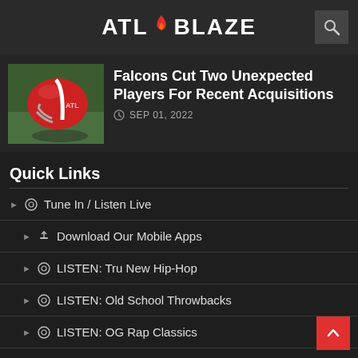ATL BLAZE
Falcons Cut Two Unexpected Players For Recent Acquisitions
SEP 01, 2022
Quick Links
Tune In / Listen Live
Download Our Mobile Apps
LISTEN: Tru New Hip-Hop
LISTEN: Old School Throwbacks
LISTEN: OG Rap Classics
LISTEN: Crunk City Radio